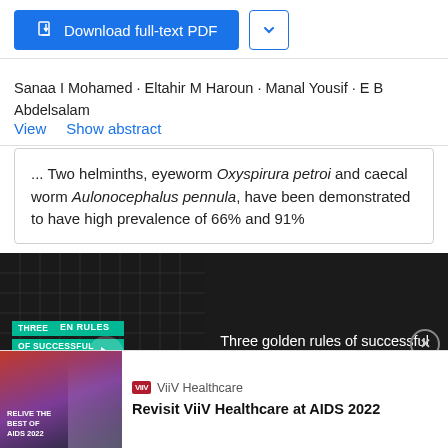[Figure (screenshot): Download full-text PDF button and dropdown arrow button]
Sanaa I Mohamed · Eltahir M Haroun · Manal Yousif · E B Abdelsalam
View   Show abstract
... Two helminths, eyeworm Oxyspirura petroi and caecal worm Aulonocephalus pennula, have been demonstrated to have high prevalence of 66% and 91%
[Figure (screenshot): Video advertisement overlay with dark background showing 'Three golden rules of successful STEM marketing' text with play button and close button]
[Figure (screenshot): ViiV Healthcare advertisement - Revisit ViiV Healthcare at AIDS 2022]